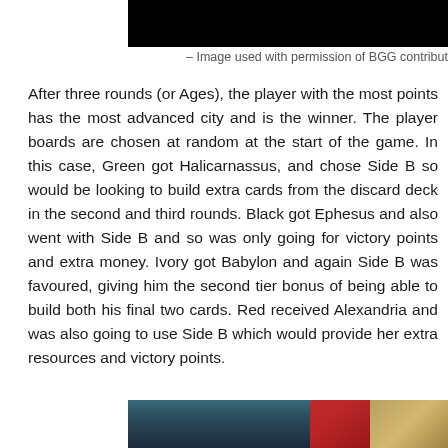[Figure (photo): Top portion of a dark/black image, cropped at the top of the page]
– Image used with permission of BGG contribut
After three rounds (or Ages), the player with the most points has the most advanced city and is the winner. The player boards are chosen at random at the start of the game. In this case, Green got Halicarnassus, and chose Side B so would be looking to build extra cards from the discard deck in the second and third rounds. Black got Ephesus and also went with Side B and so was only going for victory points and extra money. Ivory got Babylon and again Side B was favoured, giving him the second tier bonus of being able to build both his final two cards. Red received Alexandria and was also going to use Side B which would provide her extra resources and victory points.
[Figure (photo): Bottom portion of a colorful image, partially cropped, showing game cards or board game components]